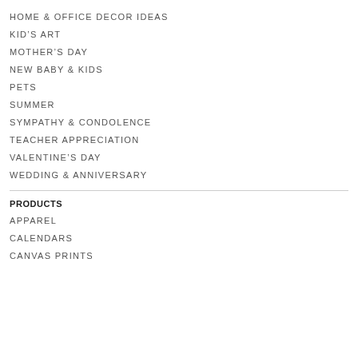HOME & OFFICE DECOR IDEAS
KID'S ART
MOTHER'S DAY
NEW BABY & KIDS
PETS
SUMMER
SYMPATHY & CONDOLENCE
TEACHER APPRECIATION
VALENTINE'S DAY
WEDDING & ANNIVERSARY
PRODUCTS
APPAREL
CALENDARS
CANVAS PRINTS